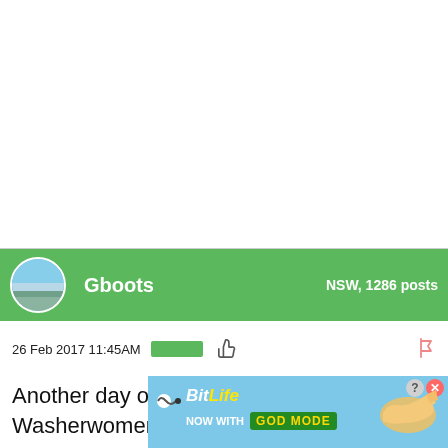[Figure (other): White empty space at top of page]
Gboots   NSW, 1286 posts
26 Feb 2017 11:45AM
Another day of negotiating close outs at Washerwomens Bendalong
[Figure (other): BitLife advertisement banner — NOW WITH GOD MODE]